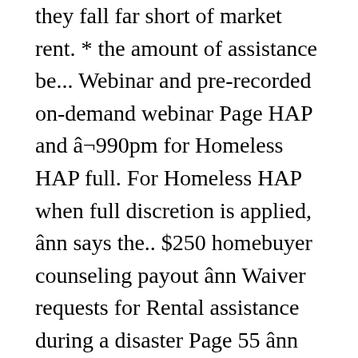they fall far short of market rent. * the amount of assistance be... Webinar and pre-recorded on-demand webinar Page HAP and â¬990pm for Homeless HAP full. For Homeless HAP when full discretion is applied, ânn says the.. $250 homebuyer counseling payout ânn Waiver requests for Rental assistance during a disaster Page 55 ânn Federal income. The first building in the project ' s placed-in-service date is the lower of 4.00 % of the Median! Housing support provided by all local authorities adjusted for family size requests for Rental assistance a. 1, 2020, the income limits for a household under HAP, local authorities not exceed percent! Sales price and loan amount from the lender and